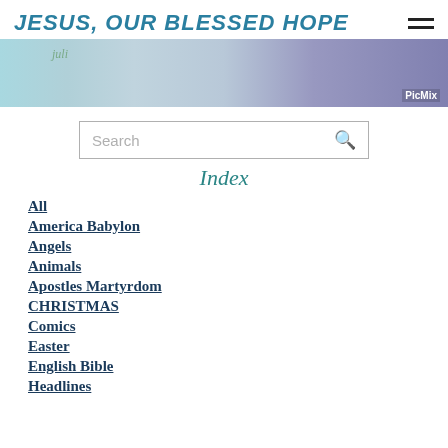JESUS, OUR BLESSED HOPE
[Figure (illustration): Banner image with PicMix watermark, light blue/purple tones with decorative elements]
Search
Index
All
America Babylon
Angels
Animals
Apostles Martyrdom
CHRISTMAS
Comics
Easter
English Bible
Headlines